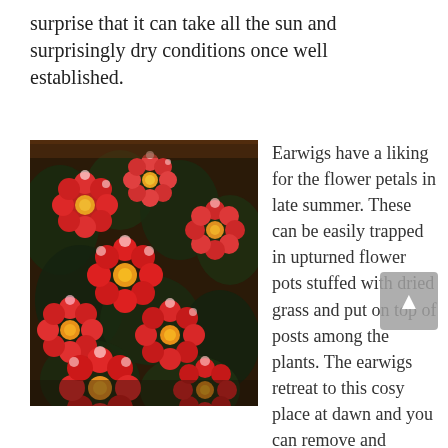surprise that it can take all the sun and surprisingly dry conditions once well established.
[Figure (photo): A lush cluster of bright pink and red dahlia flowers with dark green and near-black foliage, photographed outdoors against a wooden fence background.]
Earwigs have a liking for the flower petals in late summer. These can be easily trapped in upturned flower pots stuffed with dried grass and put on top of posts among the plants. The earwigs retreat to this cosy place at dawn and you can remove and dispose